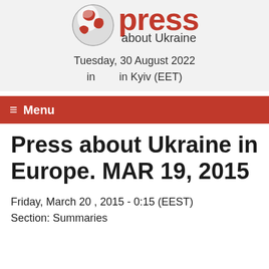[Figure (logo): Press about Ukraine logo with globe icon and red 'press' text with 'about Ukraine' subtitle]
Tuesday, 30 August 2022
in      in Kyiv (EET)
≡ Menu
Press about Ukraine in Europe. MAR 19, 2015
Friday, March 20 , 2015 - 0:15 (EEST)
Section: Summaries